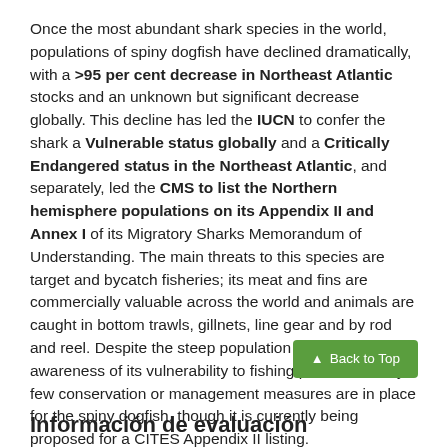Once the most abundant shark species in the world, populations of spiny dogfish have declined dramatically, with a >95 per cent decrease in Northeast Atlantic stocks and an unknown but significant decrease globally. This decline has led the IUCN to confer the shark a Vulnerable status globally and a Critically Endangered status in the Northeast Atlantic, and separately, led the CMS to list the Northern hemisphere populations on its Appendix II and Annex I of its Migratory Sharks Memorandum of Understanding. The main threats to this species are target and bycatch fisheries; its meat and fins are commercially valuable across the world and animals are caught in bottom trawls, gillnets, line gear and by rod and reel. Despite the steep population declines and awareness of its vulnerability to fishing pressures, very few conservation or management measures are in place for the spiny dogfish, though it is currently being proposed for a CITES Appendix II listing.
photo credit: brotherM via photopin cc
Información de evaluación